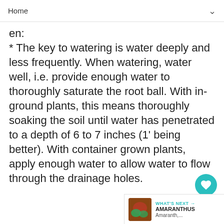Home
* The key to watering is water deeply and less frequently. When watering, water well, i.e. provide enough water to thoroughly saturate the root ball. With in-ground plants, this means thoroughly soaking the soil until water has penetrated to a depth of 6 to 7 inches (1' being better). With container grown plants, apply enough water to allow water to flow through the drainage holes.